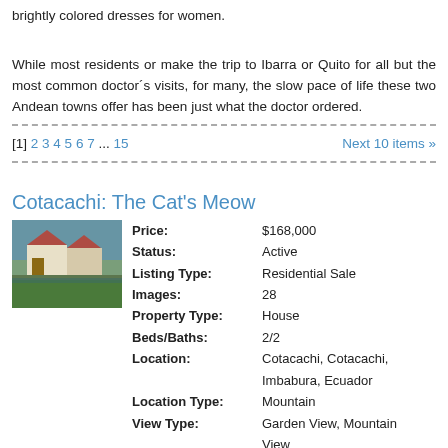brightly colored dresses for women.
While most residents or make the trip to Ibarra or Quito for all but the most common doctor´s visits, for many, the slow pace of life these two Andean towns offer has been just what the doctor ordered.
[1] 2 3 4 5 6 7 ... 15   Next 10 items »
Cotacachi: The Cat's Meow
| Field | Value |
| --- | --- |
| Price: | $168,000 |
| Status: | Active |
| Listing Type: | Residential Sale |
| Images: | 28 |
| Property Type: | House |
| Beds/Baths: | 2/2 |
| Location: | Cotacachi, Cotacachi, Imbabura, Ecuador |
| Location Type: | Mountain |
| View Type: | Garden View, Mountain View |
| Total Lot Size: | 494.00 m² (5,317.35 sq ft) |